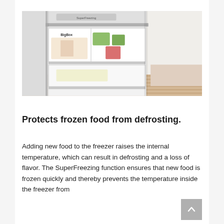[Figure (photo): Open white freezer drawer showing internal compartments including a BigBox drawer with visible food items, set in a bright kitchen with light wood flooring.]
Protects frozen food from defrosting.
Adding new food to the freezer raises the internal temperature, which can result in defrosting and a loss of flavor. The SuperFreezing function ensures that new food is frozen quickly and thereby prevents the temperature inside the freezer from...